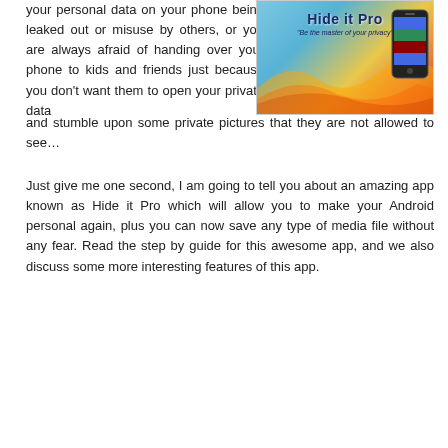your personal data on your phone being leaked out or misuse by others, or you are always afraid of handing over your phone to kids and friends just because you don't want them to open your private data and stumble upon some private pictures that they are not allowed to see…
[Figure (illustration): Hide it Pro app advertisement image showing the app title 'Hide it Pro' with tagline 'Be the master of your privacy' and a smartphone on a colorful background]
Just give me one second, I am going to tell you about an amazing app known as Hide it Pro which will allow you to make your Android personal again, plus you can now save any type of media file without any fear. Read the step by guide for this awesome app, and we also discuss some more interesting features of this app.